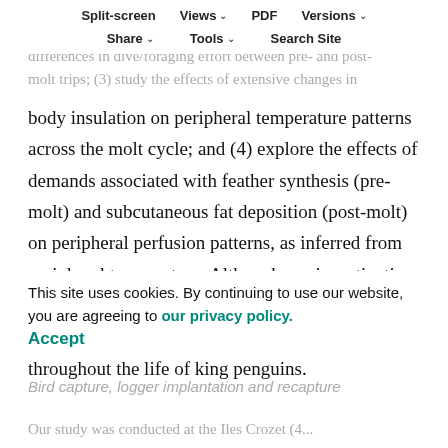dive/foraging performance during post-molt foraging trips; potentially enabling physiological constraints to examine differences in dive/foraging effort between pre- and post-molt trips; (3) study the effects of extensive changes in
Split-screen | Views | PDF | Versions | Share | Tools | Search Site
body insulation on peripheral temperature patterns across the molt cycle; and (4) explore the effects of demands associated with feather synthesis (pre-molt) and subcutaneous fat deposition (post-molt) on peripheral perfusion patterns, as inferred from peripheral temperature. Although our investigation focused on immature birds, the observed changes during the annual molt cycle likely occur throughout the life of king penguins.
MATERIALS AND METHODS
This site uses cookies. By continuing to use our website, you are agreeing to our privacy policy. Accept
Bird capture, logger implantation and recapture
Our study was conducted at the Iles Crozet (4...